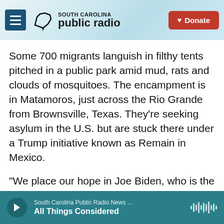[Figure (logo): South Carolina Public Radio logo with menu button and Donate button in website header]
Some 700 migrants languish in filthy tents pitched in a public park amid mud, rats and clouds of mosquitoes. The encampment is in Matamoros, just across the Rio Grande from Brownsville, Texas. They're seeking asylum in the U.S. but are stuck there under a Trump initiative known as Remain in Mexico.
"We place our hope in Joe Biden, who is the Democratic nominee, because he would treat the immigrants very differently than Trump has," says Carla Garcia, speaking at her cluttered campsite.
South Carolina Public Radio News … All Things Considered